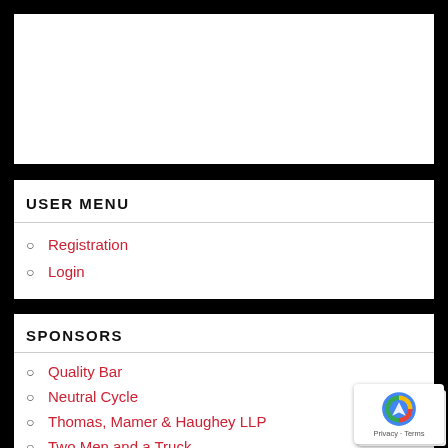USER MENU
Registration
Login
SPONSORS
Quality Bar
Neutral Cycle
Thomas, Mamer & Haughey LLP
Two Men and a Truck
PowerMeterCity.com
American Eagle Auto Glass